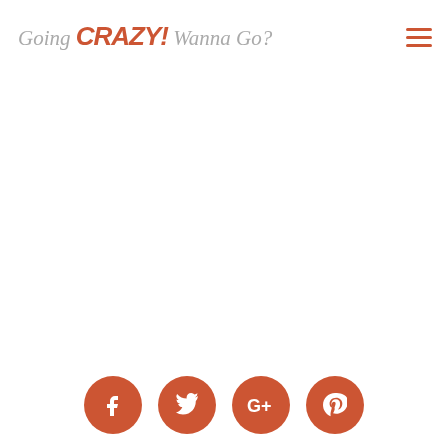Going CRAZY! Wanna Go?
[Figure (logo): Blog logo text reading 'Going CRAZY! Wanna Go?' with stylized mixed fonts in terracotta and grey, with a hamburger menu icon on the right]
[Figure (infographic): Four circular social media buttons at the bottom: Facebook (f), Twitter (bird), Google+ (G+), Pinterest (P) — all in terracotta/rust color]